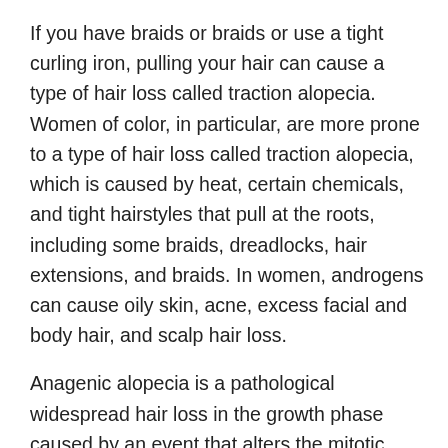If you have braids or braids or use a tight curling iron, pulling your hair can cause a type of hair loss called traction alopecia. Women of color, in particular, are more prone to a type of hair loss called traction alopecia, which is caused by heat, certain chemicals, and tight hairstyles that pull at the roots, including some braids, dreadlocks, hair extensions, and braids. In women, androgens can cause oily skin, acne, excess facial and body hair, and scalp hair loss.
Anagenic alopecia is a pathological widespread hair loss in the growth phase caused by an event that alters the mitotic activity of the hair follicle, most commonly chemotherapy. Some vitamin deficiencies, such as vitamin D, iron, and ferritin (iron stores) and other factors such as a heavy diet, thyroid problems, and pregnancy (postpartum hair loss), can also cause